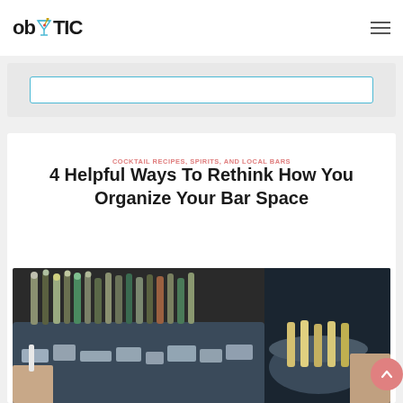obYTIC
[Figure (screenshot): Search input box with teal/blue border on a light gray background]
COCKTAIL RECIPES, SPIRITS, AND LOCAL BARS
4 Helpful Ways To Rethink How You Organize Your Bar Space
[Figure (photo): Overhead and side view of a bar setup with bottles on ice in a metal tub, bartender hands visible]